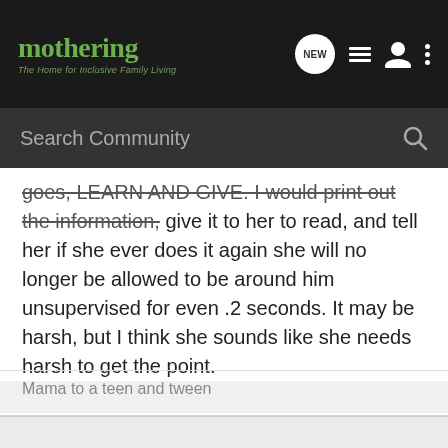mothering – The Home for Inclusive Family Living
goes, LEARN AND GIVE. I would print out the information, give it to her to read, and tell her if she ever does it again she will no longer be allowed to be around him unsupervised for even .2 seconds. It may be harsh, but I think she sounds like she needs harsh to get the point.
Mama to a teen and tween
Reply  Quote
Teresa · Registered
Joined Jan 24, 2002 · 584 Posts